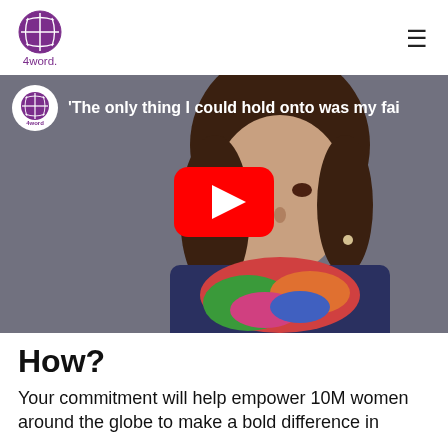[Figure (logo): 4word logo: purple circular cross/globe icon above the text '4word.' in purple]
[Figure (screenshot): YouTube video thumbnail showing a woman with brown hair wearing a colorful floral scarf and dark top, against a gray background. Video title reads: 'The only thing I could hold onto was my fai...' The 4word logo appears in the top-left corner. A red YouTube play button is centered over the image.]
How?
Your commitment will help empower 10M women around the globe to make a bold difference in